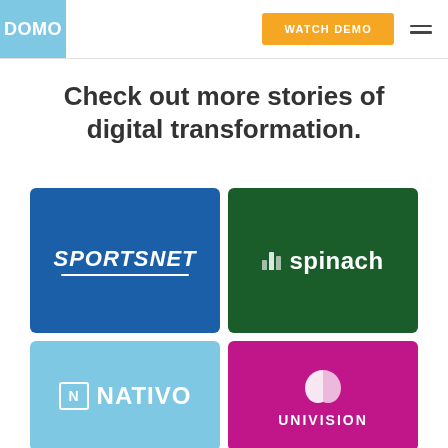DOMO | WATCH DEMO
Check out more stories of digital transformation.
[Figure (logo): Sportsnet logo on blue background — white bold italic text reading SPORTSNET with underline]
[Figure (logo): Spinach logo on dark green background — bar chart icon and white text reading 'spinach']
[Figure (logo): Nativo logo on light blue background — boxed N icon and white bold text NATIVO]
[Figure (logo): Univision logo on magenta/purple background — white leaf/petal icon and UNIVISION text]